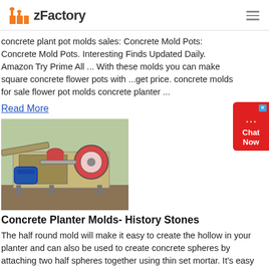zFactory
concrete plant pot molds sales: Concrete Mold Pots: Concrete Mold Pots. Interesting Finds Updated Daily. Amazon Try Prime All ... With these molds you can make square concrete flower pots with ...get price. concrete molds for sale flower pot molds concrete planter ...
Read More
[Figure (photo): Industrial machine, likely a jaw crusher or concrete processing machine, with a blue motor visible, outdoors on dirt ground.]
Concrete Planter Molds- History Stones
The half round mold will make it easy to create the hollow in your planter and can also be used to create concrete spheres by attaching two half spheres together using thin set mortar. It's easy and fun! Our molds are guaranteed to create at least 25 pieces. Cortona Saucer 2 Piece Mold Set $ 99.99 $ 129.98. Sale.
Read More